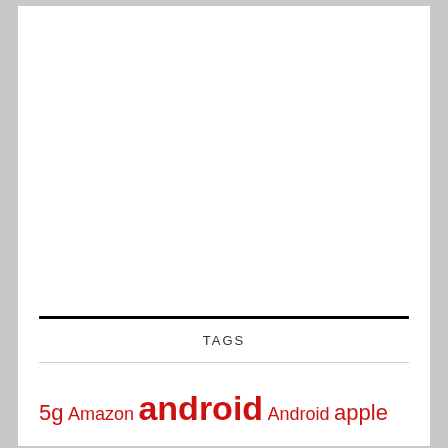TAGS
5g Amazon android Android apple